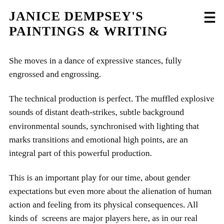JANICE DEMPSEY'S PAINTINGS & WRITING
She moves in a dance of expressive stances, fully engrossed and engrossing.
The technical production is perfect. The muffled explosive sounds of distant death-strikes, subtle background environmental sounds, synchronised with lighting that marks transitions and emotional high points, are an integral part of this powerful production.
This is an important play for our time, about gender expectations but even more about the alienation of human action and feeling from its physical consequences. All kinds of  screens are major players here, as in our real lives today.
If you can catch this remarkable play on its tour of the